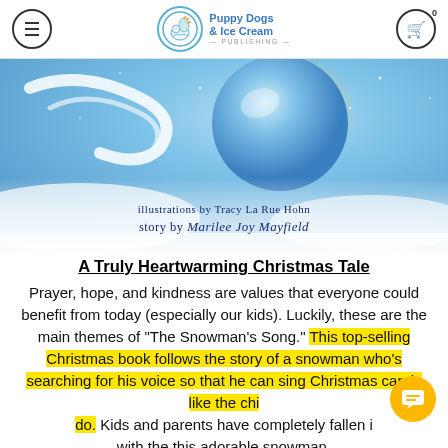Puppy Dogs & Ice Cream PUBLISHING
[Figure (illustration): Book cover illustration showing a glowing blue ornament/moon with swirling wind against a snowy sky background. Text reads 'illustrations by Tracy La Rue Hohn' and 'story by Marilee Joy Mayfield']
A Truly Heartwarming Christmas Tale
Prayer, hope, and kindness are values that everyone could benefit from today (especially our kids). Luckily, these are the main themes of "The Snowman's Song." This top-selling Christmas book follows the story of a snowman who's searching for his voice so that he can sing Christmas carols like the chi do. Kids and parents have completely fallen i with the this adorable snowman.